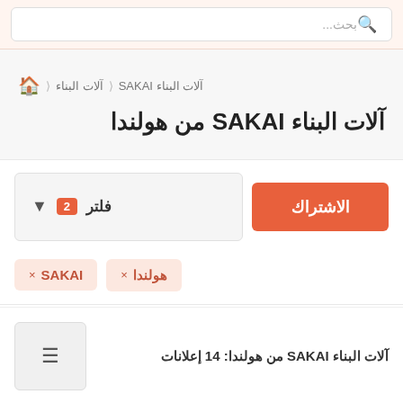بحث...
🏠 < آلات البناء < آلات البناء SAKAI
آلات البناء SAKAI من هولندا
الاشتراك
فلتر 2
SAKAI ×
هولندا ×
آلات البناء SAKAI من هولندا: 14 إعلانات